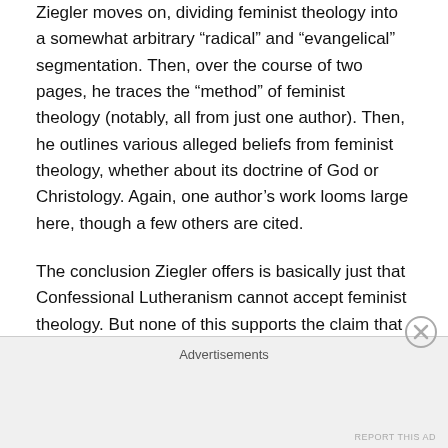Ziegler moves on, dividing feminist theology into a somewhat arbitrary “radical” and “evangelical” segmentation. Then, over the course of two pages, he traces the “method” of feminist theology (notably, all from just one author). Then, he outlines various alleged beliefs from feminist theology, whether about its doctrine of God or Christology. Again, one author’s work looms large here, though a few others are cited.
The conclusion Ziegler offers is basically just that Confessional Lutheranism cannot accept feminist theology. But none of this supports the claim that the ordination of women directly arose out of the streams of feminist theology he traces. No attempt is even made to
Advertisements